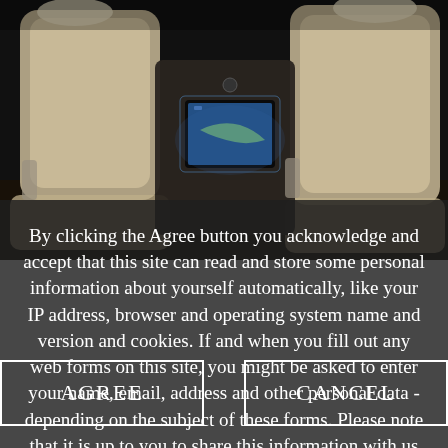[Figure (photo): Airplane business class interior showing beige/tan leather seats with a small entertainment screen visible in the center, dark background]
By clicking the Agree button you acknowledge and accept that this site can read and store some personal information about yourself automatically, like your IP address, browser and operating system name and version and cookies. If and when you fill out any web forms on this site, you might be asked to enter your name, email, address and other personal data - depending on the subject of these forms. Please note that it is up to you to share this information with us or not.
AGREE
CANCEL